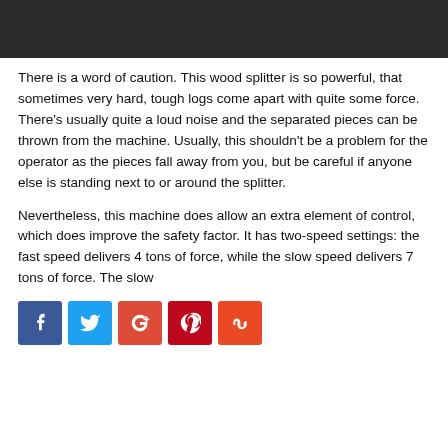[Figure (photo): Dark/black header image area at top of page]
There is a word of caution. This wood splitter is so powerful, that sometimes very hard, tough logs come apart with quite some force. There's usually quite a loud noise and the separated pieces can be thrown from the machine. Usually, this shouldn't be a problem for the operator as the pieces fall away from you, but be careful if anyone else is standing next to or around the splitter.
Nevertheless, this machine does allow an extra element of control, which does improve the safety factor. It has two-speed settings: the fast speed delivers 4 tons of force, while the slow speed delivers 7 tons of force. The slow
[Figure (infographic): Social media sharing buttons: Facebook (blue), Twitter (light blue), Google+ (red), Pinterest (dark red), StumbleUpon (orange-red)]